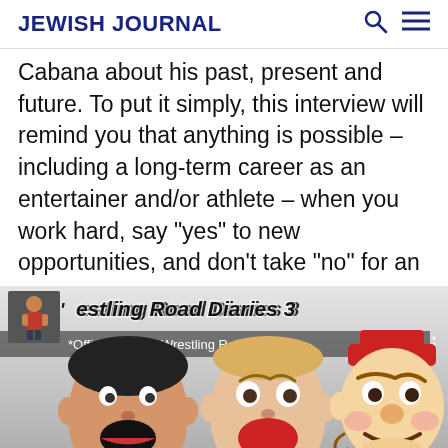JEWISH JOURNAL
Cabana about his past, present and future. To put it simply, this interview will remind you that anything is possible – including a long-term career as an entertainer and/or athlete – when you work hard, say “yes” to new opportunities, and don’t take “no” for an answer.
[Figure (screenshot): Video thumbnail for '*Official Trailer* Wrestling Road Di...' showing three people with expressive faces and the title 'Wrestling Road Diaries 3' in stylized handwritten text]